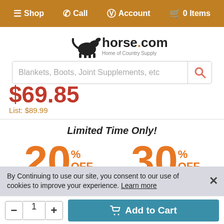☰ Shop  ✆ Call  ♟ Account  🛒 0 Items
[Figure (logo): horse.com - Home of Country Supply logo with horse silhouette]
Blankets, Boots, Joint Supplements, etc
$69.85
List: $89.99
Limited Time Only!
20% OFF Your Order
30% OFF Orders Over $129*
By Continuing to use our site, you consent to our use of cookies to improve your experience. Learn more
- 1 +  Add to Cart